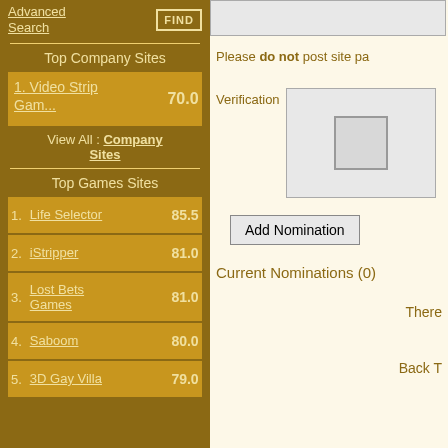Advanced Search
FIND
Top Company Sites
1. Video Strip Gam... 70.0
View All : Company Sites
Top Games Sites
1. Life Selector 85.5
2. iStripper 81.0
3. Lost Bets Games 81.0
4. Saboom 80.0
5. 3D Gay Villa 79.0
Please do not post site pa
Verification
Add Nomination
Current Nominations (0)
There
Back T